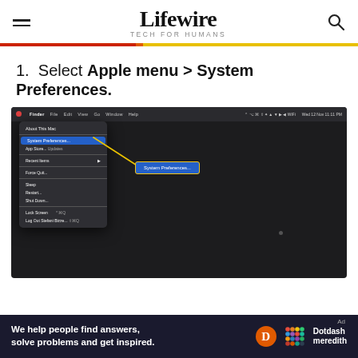Lifewire — TECH FOR HUMANS
1.  Select Apple menu > System Preferences.
[Figure (screenshot): macOS desktop screenshot showing the Apple menu open with 'System Preferences...' highlighted in blue, and a yellow arrow pointing to a callout box labeled 'System Preferences...']
We help people find answers, solve problems and get inspired. — Dotdash meredith